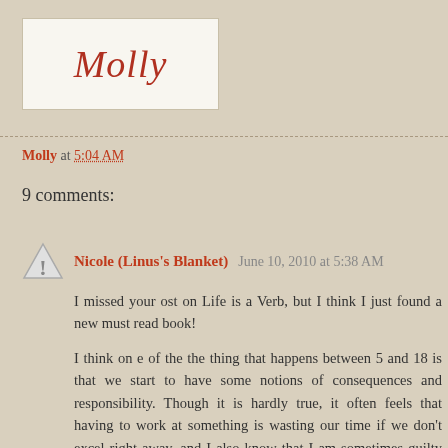[Figure (logo): Blog logo with cursive 'Molly' text in dark red on white background with border]
Molly at 5:04 AM
9 comments:
Nicole (Linus's Blanket) June 10, 2010 at 5:38 AM
I missed your ost on Life is a Verb, but I think I just found a new must read book!

I think on e of the the thing that happens between 5 and 18 is that we start to have some notions of consequences and responsibility. Though it is hardly true, it often feels that having to work at something is wasting our time if we don't excel right away, and I also know that I am sometimes guilty of not concentrating on my own progress.

I think it's good idea to only compare me to me, but